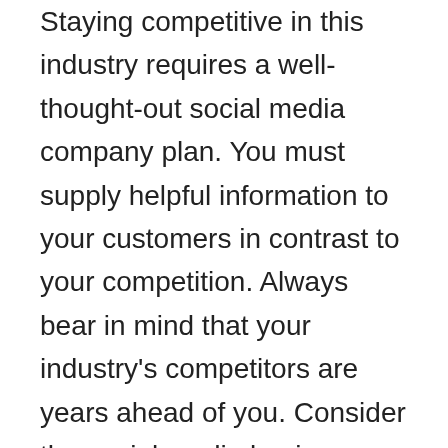Staying competitive in this industry requires a well-thought-out social media company plan. You must supply helpful information to your customers in contrast to your competition. Always bear in mind that your industry's competitors are years ahead of you. Consider the social media business plan template's themes that represent your company's identity. With just a little carelessness, you may lose all of your followers to your rivals, leaving you with little or no support from your online audiences.
When people discuss your brand on the internet, you have the opportunity to learn